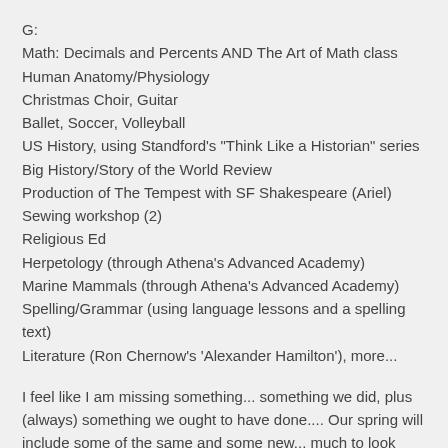G:
Math: Decimals and Percents AND The Art of Math class
Human Anatomy/Physiology
Christmas Choir, Guitar
Ballet, Soccer, Volleyball
US History, using Standford's "Think Like a Historian" series
Big History/Story of the World Review
Production of The Tempest with SF Shakespeare (Ariel)
Sewing workshop (2)
Religious Ed
Herpetology (through Athena's Advanced Academy)
Marine Mammals (through Athena's Advanced Academy)
Spelling/Grammar (using language lessons and a spelling text)
Literature (Ron Chernow's 'Alexander Hamilton'), more...
I feel like I am missing something... something we did, plus (always) something we ought to have done.... Our spring will include some of the same and some new... much to look forward to (though now just resting is what I am looking forward to - no more final presentations, no need to prep for